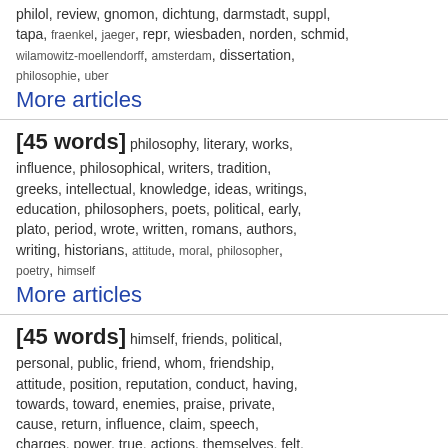philol, review, gnomon, dichtung, darmstadt, suppl, tapa, fraenkel, jaeger, repr, wiesbaden, norden, schmid, wilamowitz-moellendorff, amsterdam, dissertation, philosophie, uber
More articles
[45 words] philosophy, literary, works, influence, philosophical, writers, tradition, greeks, intellectual, knowledge, ideas, writings, education, philosophers, poets, political, early, plato, period, wrote, written, romans, authors, writing, historians, attitude, moral, philosopher, poetry, himself
More articles
[45 words] himself, friends, political, personal, public, friend, whom, friendship, attitude, position, reputation, conduct, having, towards, toward, enemies, praise, private, cause, return, influence, claim, speech, charges, power, true, actions, themselves, felt, career
More articles
[43 words] text, translation, edition,